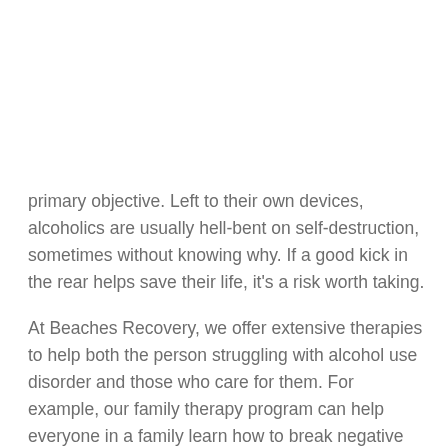primary objective. Left to their own devices, alcoholics are usually hell-bent on self-destruction, sometimes without knowing why. If a good kick in the rear helps save their life, it's a risk worth taking.
At Beaches Recovery, we offer extensive therapies to help both the person struggling with alcohol use disorder and those who care for them. For example, our family therapy program can help everyone in a family learn how to break negative habits, learn healthy coping mechanisms, and ultimately overcome their addiction. Some of our other therapies include:
Individual Therapy
Group Therapy